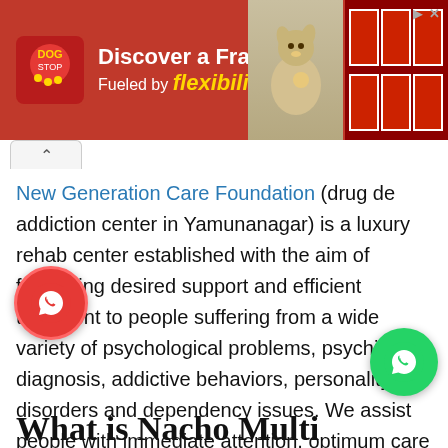[Figure (screenshot): Advertisement banner for The Dog Stop franchise with red background, logo, text 'Discover a Franchise Fueled by Flexibility', and photos of dogs and kennels]
New Generation Care Foundation (drug de addiction center in Yamunanagar) is a luxury rehab center established with the aim of facilitating desired support and efficient treatment to people suffering from a wide variety of psychological problems, psychiatric diagnosis, addictive behaviors, personality disorders and dependency issues. We assist people with immediate attention, optimum care and an individualized comprehensive management plan designed by our experts.
What is Nacho Multi